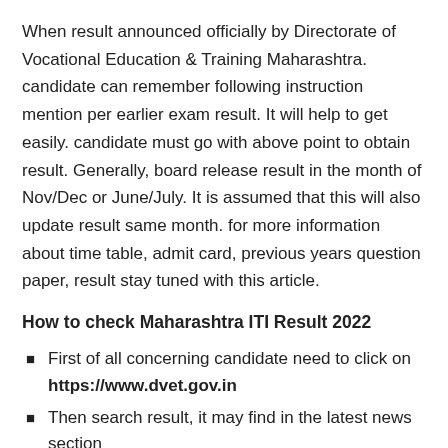When result announced officially by Directorate of Vocational Education & Training Maharashtra. candidate can remember following instruction mention per earlier exam result. It will help to get easily. candidate must go with above point to obtain result. Generally, board release result in the month of Nov/Dec or June/July. It is assumed that this will also update result same month. for more information about time table, admit card, previous years question paper, result stay tuned with this article.
How to check Maharashtra ITI Result 2022
First of all concerning candidate need to click on https://www.dvet.gov.in
Then search result, it may find in the latest news section
select your month and enter complete information
After filling information press to view result